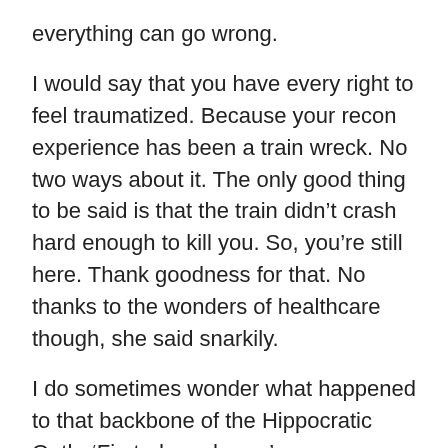everything can go wrong.
I would say that you have every right to feel traumatized. Because your recon experience has been a train wreck. No two ways about it. The only good thing to be said is that the train didn't crash hard enough to kill you. So, you're still here. Thank goodness for that. No thanks to the wonders of healthcare though, she said snarkily.
I do sometimes wonder what happened to that backbone of the Hippocratic Oath, ‘First, do no harm.’
I suppose it’s helped that I’ve always thought symmetry was overrated.